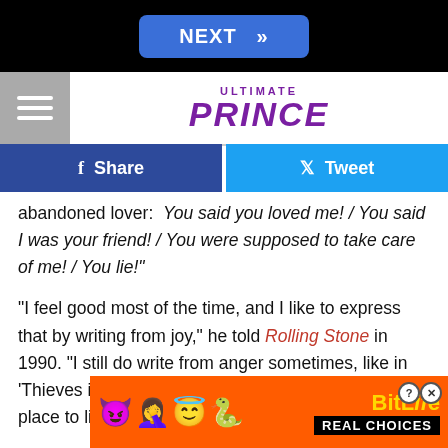NEXT >>
[Figure (logo): Ultimate Prince website logo with hamburger menu icon]
Share | Tweet (social share buttons)
abandoned lover:  You said you loved me! / You said I was your friend! / You were supposed to take care of me! / You lie!"
"I feel good most of the time, and I like to express that by writing from joy," he told Rolling Stone in 1990. "I still do write from anger sometimes, like in 'Thieves in the Temple.' But I don't like to. It's not a place to live."
In the same interview, he dismissed critics who didn't think his new... about ...
[Figure (screenshot): BitLife ad banner with colorful emojis: devil, woman, angel face, sperm emoji; BitLife REAL CHOICES branding]